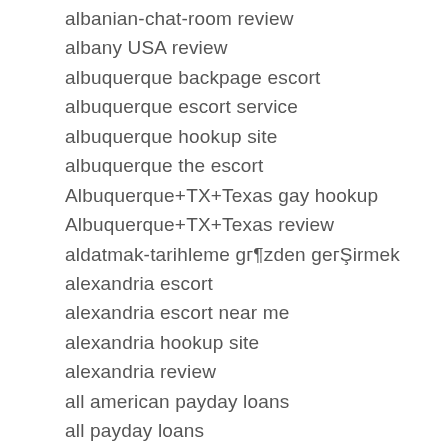albanian-chat-room review
albany USA review
albuquerque backpage escort
albuquerque escort service
albuquerque hookup site
albuquerque the escort
Albuquerque+TX+Texas gay hookup
Albuquerque+TX+Texas review
aldatmak-tarihleme gözden geçirmek
alexandria escort
alexandria escort near me
alexandria hookup site
alexandria review
all american payday loans
all payday loans
all payday loans online
Allacciare esempi di profilo
allacciare review
allacciare-dating.com best dating